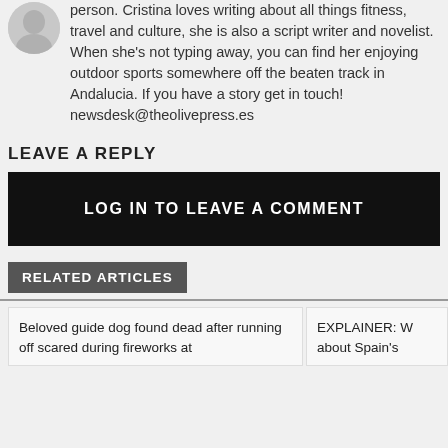[Figure (photo): Circular avatar photo of a person, partially visible at top-left]
person. Cristina loves writing about all things fitness, travel and culture, she is also a script writer and novelist. When she's not typing away, you can find her enjoying outdoor sports somewhere off the beaten track in Andalucia. If you have a story get in touch! newsdesk@theolivepress.es
LEAVE A REPLY
LOG IN TO LEAVE A COMMENT
RELATED ARTICLES
Beloved guide dog found dead after running off scared during fireworks at
EXPLAINER: W about Spain's